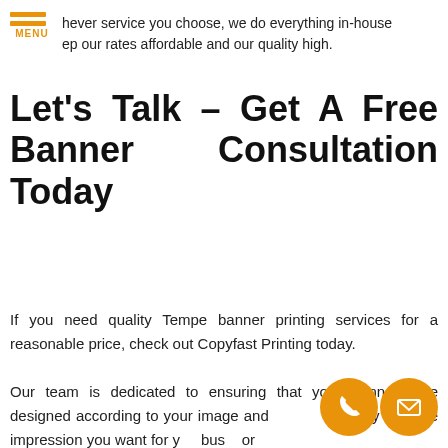hever service you choose, we do everything in-house ep our rates affordable and our quality high.
Let's Talk – Get A Free Banner Consultation Today
If you need quality Tempe banner printing services for a reasonable price, check out Copyfast Printing today.
Our team is dedicated to ensuring that your banners are designed according to your image and [em] do they give the impression you want for y[our] busi[ness] or